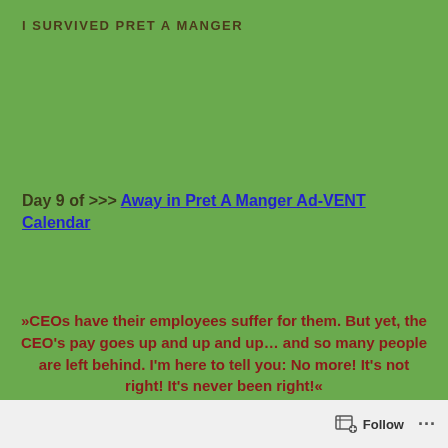I SURVIVED PRET A MANGER
Day 9 of >>> Away in Pret A Manger Ad-VENT Calendar
»CEOs have their employees suffer for them. But yet, the CEO's pay goes up and up and up… and so many people are left behind. I'm here to tell you: No more! It's not right! It's never been right!« – Hamdi Ulukaya, Founder and CEO of Chobani